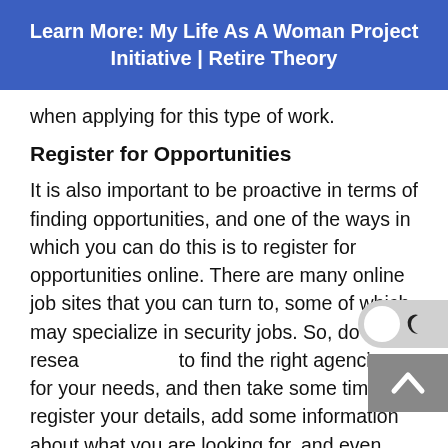Learn More: My Life As A Woman Project Initiative | Retire Theory
when applying for this type of work.
Register for Opportunities
It is also important to be proactive in terms of finding opportunities, and one of the ways in which you can do this is to register for opportunities online. There are many online job sites that you can turn to, some of which may specialize in security jobs. So, do some research to find the right agencies for your needs, and then take some time to register your details, add some information about what you are looking for, and even upload your resume. This will make it easier to avoid missing out on